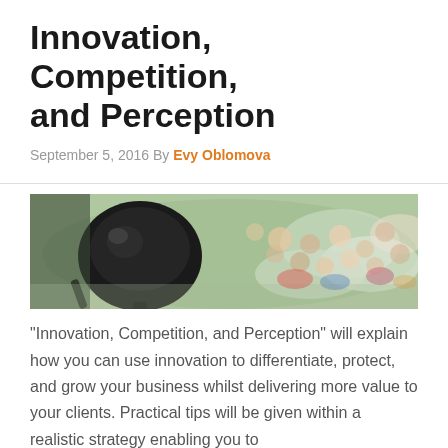Innovation, Competition, and Perception
September 5, 2016 By Evy Oblomova
[Figure (photo): A close-up of a microphone in the foreground with a blurred audience crowd in the background at an event or conference.]
“Innovation, Competition, and Perception” will explain how you can use innovation to differentiate, protect, and grow your business whilst delivering more value to your clients. Practical tips will be given within a realistic strategy enabling you to